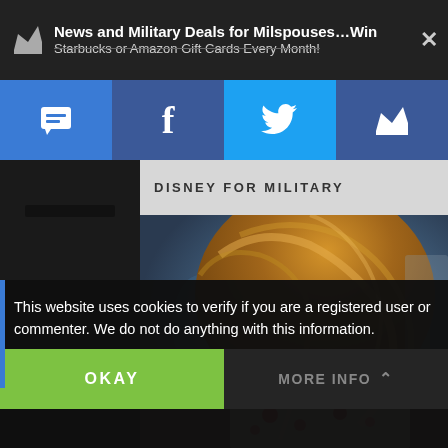News and Military Deals for Milspouses…Win Starbucks or Amazon Gift Cards Every Month!
[Figure (screenshot): Social media navigation bar with SMS, Facebook, Twitter, and crown/brand icons on blue backgrounds]
DISNEY FOR MILITARY
[Figure (photo): Close-up photo of a woman with long wavy auburn/brown hair, wearing a floral dress, at what appears to be a Disney park]
This website uses cookies to verify if you are a registered user or commenter. We do not do anything with this information.
OKAY
MORE INFO